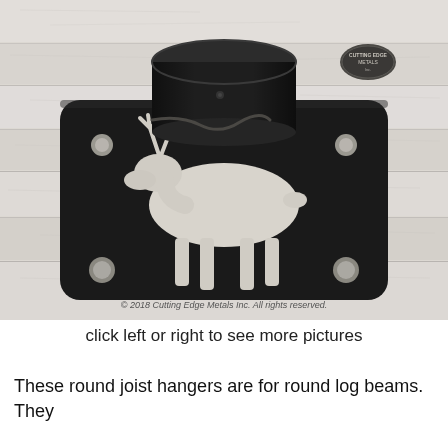[Figure (photo): Product photo of a black metal round joist hanger / post cap with a moose cutout design, sitting on whitewashed wood planks. The metal base plate has four corner holes and a moose silhouette cut into it. A round black cylindrical post cap sits on top. A copyright watermark reads '© 2018 Cutting Edge Metals Inc. All rights reserved.']
click left or right to see more pictures
These round joist hangers are for round log beams. They are made to fit your round beams for the. Whet, on the gi